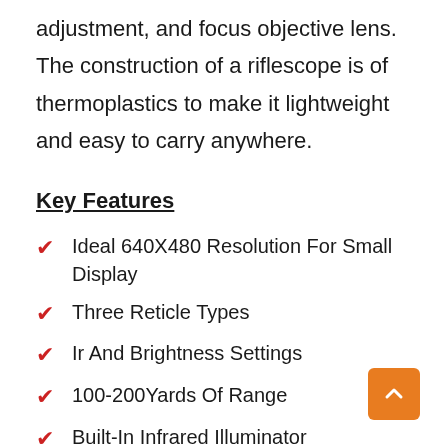adjustment, and focus objective lens. The construction of a riflescope is of thermoplastics to make it lightweight and easy to carry anywhere.
Key Features
Ideal 640X480 Resolution For Small Display
Three Reticle Types
Ir And Brightness Settings
100-200Yards Of Range
Built-In Infrared Illuminator